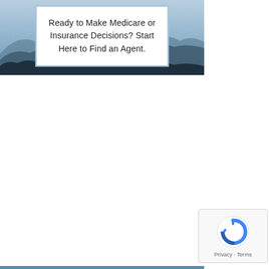[Figure (illustration): Banner image showing a scenic landscape with misty blue mountains in the background and a darker silhouette of trees/hills in the foreground. A white text box with a blue border is overlaid on the upper left portion of the image containing the headline text.]
Ready to Make Medicare or Insurance Decisions? Start Here to Find an Agent.
[Figure (logo): reCAPTCHA badge in the bottom-right corner showing the reCAPTCHA logo (circular arrows icon in blue) with 'Privacy - Terms' text below.]